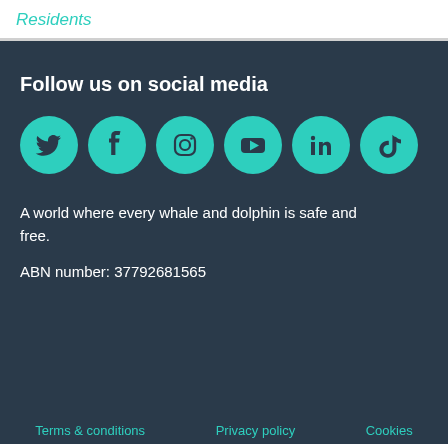Residents
Follow us on social media
[Figure (illustration): Six teal circular social media icons: Twitter, Facebook, Instagram, YouTube, LinkedIn, TikTok]
A world where every whale and dolphin is safe and free.
ABN number: 37792681565
Terms & conditions   Privacy policy   Cookies